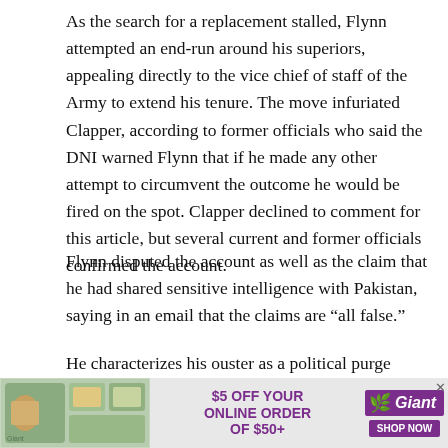As the search for a replacement stalled, Flynn attempted an end-run around his superiors, appealing directly to the vice chief of staff of the Army to extend his tenure. The move infuriated Clapper, according to former officials who said the DNI warned Flynn that if he made any other attempt to circumvent the outcome he would be fired on the spot. Clapper declined to comment for this article, but several current and former officials confirmed the account.
Flynn disputed the account as well as the claim that he had shared sensitive intelligence with Pakistan, saying in an email that the claims are “all false.”
He characterizes his ouster as a political purge
[Figure (other): Advertisement banner for Giant grocery store: '$5 OFF YOUR ONLINE ORDER OF $50+' with Giant logo and 'SHOP NOW' button, showing grocery items image on the left.]